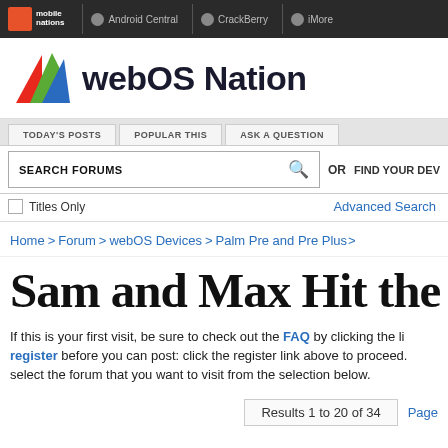mobile nations | Android Central | CrackBerry | iMore
[Figure (logo): webOS Nation logo with colorful triangular chevron icon and bold text 'webOS Nation']
TODAY'S POSTS | POPULAR THIS | ASK A QUESTION
SEARCH FORUMS | OR | FIND YOUR DEV
Titles Only  Advanced Search
Home > Forum > webOS Devices > Palm Pre and Pre Plus >
Sam and Max Hit the Pr
If this is your first visit, be sure to check out the FAQ by clicking the li register before you can post: click the register link above to proceed. select the forum that you want to visit from the selection below.
Results 1 to 20 of 34  Page